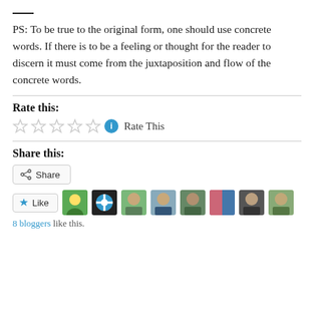PS: To be true to the original form, one should use concrete words. If there is to be a feeling or thought for the reader to discern it must come from the juxtaposition and flow of the concrete words.
Rate this:
Rate This
Share this:
Share
Like
8 bloggers like this.